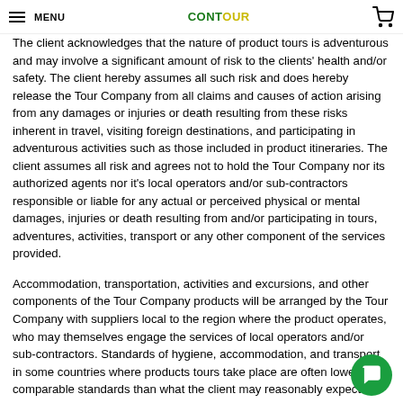MENU | CONTOUR (logo) | Cart
The client acknowledges that the nature of product tours is adventurous and may involve a significant amount of risk to the clients' health and/or safety. The client hereby assumes all such risk and does hereby release the Tour Company from all claims and causes of action arising from any damages or injuries or death resulting from these risks inherent in travel, visiting foreign destinations, and participating in adventurous activities such as those included in product itineraries. The client assumes all risk and agrees not to hold the Tour Company nor its authorized agents nor it's local operators and/or sub-contractors responsible or liable for any actual or perceived physical or mental damages, injuries or death resulting from and/or participating in tours, adventures, activities, transport or any other component of the services provided.
Accommodation, transportation, activities and excursions, and other components of the Tour Company products will be arranged by the Tour Company with suppliers local to the region where the product operates, who may themselves engage the services of local operators and/or sub-contractors. Standards of hygiene, accommodation, and transport in some countries where products tours take place are often lower than comparable standards than what the client may reasonably expect in their home country or